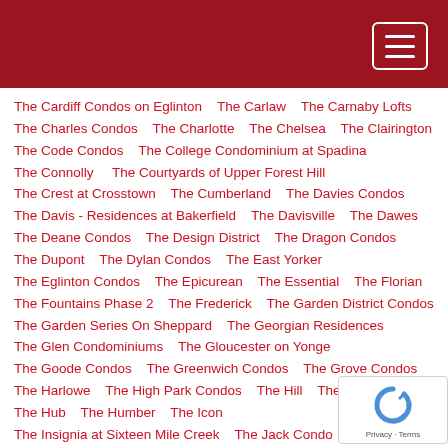The Cardiff Condos on Eglinton    The Carlaw    The Carnaby Lofts
The Charles Condos    The Charlotte    The Chelsea    The Clairington
The Code Condos    The College Condominium at Spadina
The Connolly    The Courtyards of Upper Forest Hill
The Crest at Crosstown    The Cumberland    The Davies Condos
The Davis - Residences at Bakerfield    The Davisville    The Dawes
The Deane Condos    The Design District    The Dragon Condos
The Dupont    The Dylan Condos    The East Yorker
The Eglinton Condos    The Epicurean    The Essential    The Florian
The Fountains Phase 2    The Frederick    The Garden District Condos
The Garden Series On Sheppard    The Georgian Residences
The Glen Condominiums    The Gloucester on Yonge
The Goode Condos    The Greenwich Condos    The Grove Condos
The Harlowe    The High Park Condos    The Hill    The Hive Lofts
The Hub    The Humber    The Icon
The Insignia at Sixteen Mile Creek    The Jack Condo    The James Club
The Junction    The Keeley Condos    The King East
The King Edward Private Residences
The King's Mill at Backyard Condos    The Kingsway Condos
The Kip District 3    The Kip District Phase 2    The L Tower
The LakeShore Condos    The Landing Condos
The Lexington Condominium Residences by the Park    The Livmore